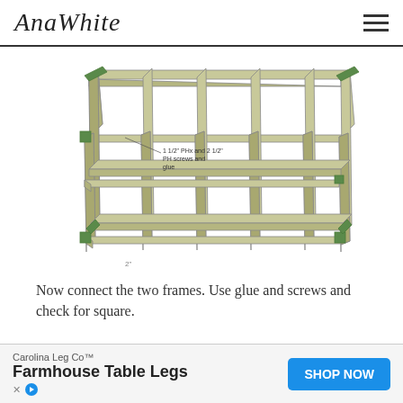AnaWhite
[Figure (engineering-diagram): 3D isometric diagram of a farmhouse table leg frame structure made of wood, showing two rectangular frames connected together with vertical posts and horizontal rails. Green corner brackets visible at joints. Annotation reads: 1 1/2" PHx and 2 1/2" PH screws and glue.]
Now connect the two frames. Use glue and screws and check for square.
Carolina Leg Co™ Farmhouse Table Legs SHOP NOW